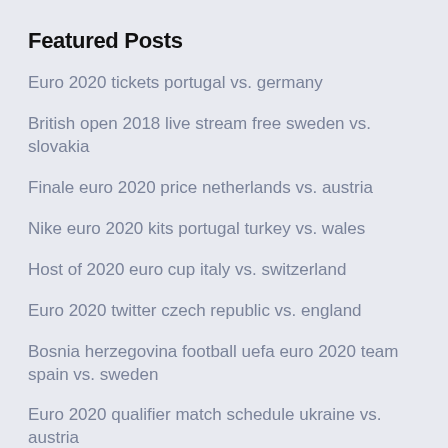Featured Posts
Euro 2020 tickets portugal vs. germany
British open 2018 live stream free sweden vs. slovakia
Finale euro 2020 price netherlands vs. austria
Nike euro 2020 kits portugal turkey vs. wales
Host of 2020 euro cup italy vs. switzerland
Euro 2020 twitter czech republic vs. england
Bosnia herzegovina football uefa euro 2020 team spain vs. sweden
Euro 2020 qualifier match schedule ukraine vs. austria
Wales euro 2020 l football jerseys germany vs. hungary